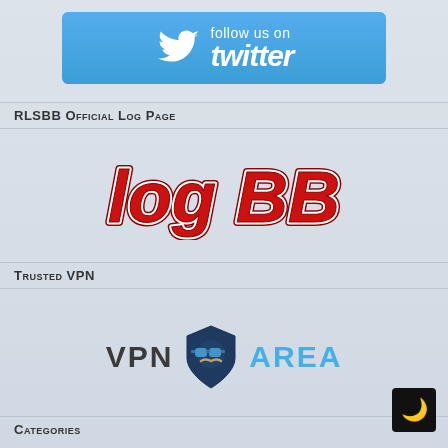[Figure (logo): Follow us on Twitter banner with Twitter bird logo, cyan/blue background]
RLSBB Official Log Page
[Figure (logo): logBB logo in red italic bold text with dark outline]
Trusted VPN
[Figure (logo): VPN Area logo with shield icon, dark blue shield with sunglasses face, text VPN AREA]
Categories